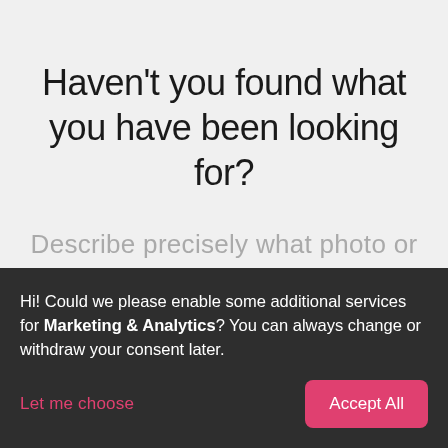Haven't you found what you have been looking for?
Describe precisely what photo or pattern you are looking for. Give also size that you demand. We will try to find what you need or we will send similar proposals.
Hi! Could we please enable some additional services for Marketing & Analytics? You can always change or withdraw your consent later.